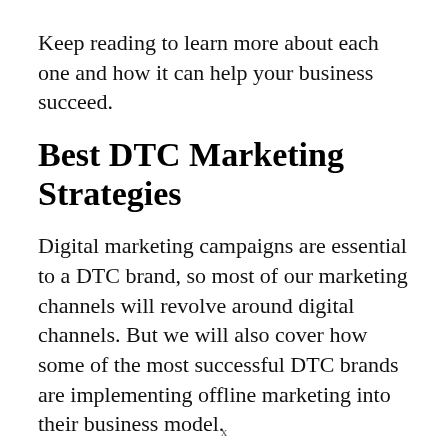Keep reading to learn more about each one and how it can help your business succeed.
Best DTC Marketing Strategies
Digital marketing campaigns are essential to a DTC brand, so most of our marketing channels will revolve around digital channels. But we will also cover how some of the most successful DTC brands are implementing offline marketing into their business model.
1. S... M... (partial, cut off)
x